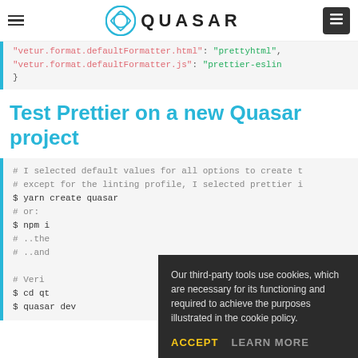Quasar — navigation bar with logo
"vetur.format.defaultFormatter.html": "prettyhtml",
"vetur.format.defaultFormatter.js": "prettier-eslin
}
Test Prettier on a new Quasar project
# I selected default values for all options to create t
# except for the linting profile, I selected prettier i
$ yarn create quasar
# or:
$ npm i...
# ..the
# ..and

# Veri...
$ cd qt...
$ quasar dev
Our third-party tools use cookies, which are necessary for its functioning and required to achieve the purposes illustrated in the cookie policy.